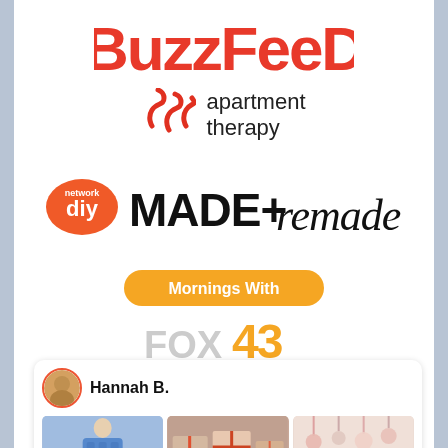[Figure (logo): BuzzFeed logo in red/coral script font]
[Figure (logo): Apartment Therapy logo with red squiggle icon and 'apartment therapy' text]
[Figure (logo): DIY Network 'MADE+remade' logo — orange DIY badge plus bold sans + script text]
[Figure (logo): Mornings With FOX43 logo — orange pill button plus FOX43 TV station logo]
[Figure (screenshot): Hannah B. Pinterest/social card with avatar and three Christmas/holiday thumbnail images]